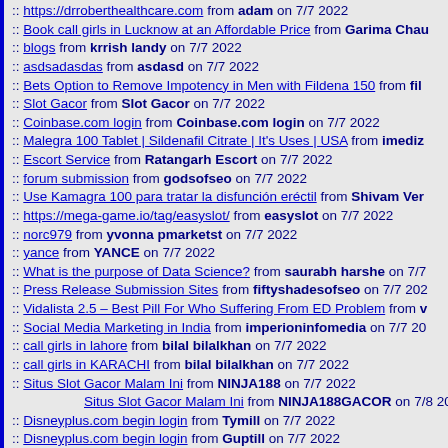:: https://drroberthealthcare.com from adam on 7/7 2022
:: Book call girls in Lucknow at an Affordable Price from Garima Chau
:: blogs from krrish landy on 7/7 2022
:: asdsadasdas from asdasd on 7/7 2022
:: Bets Option to Remove Impotency in Men with Fildena 150 from fil
:: Slot Gacor from Slot Gacor on 7/7 2022
:: Coinbase.com login from Coinbase.com login on 7/7 2022
:: Malegra 100 Tablet | Sildenafil Citrate | It's Uses | USA from imediz
:: Escort Service from Ratangarh Escort on 7/7 2022
:: forum submission from godsofseo on 7/7 2022
:: Use Kamagra 100 para tratar la disfunción eréctil from Shivam Ver
:: https://mega-game.io/tag/easyslot/ from easyslot on 7/7 2022
:: norc979 from yvonna pmarketst on 7/7 2022
:: yance from YANCE on 7/7 2022
:: What is the purpose of Data Science? from saurabh harshe on 7/7
:: Press Release Submission Sites from fiftyshadesofseo on 7/7 202
:: Vidalista 2.5 – Best Pill For Who Suffering From ED Problem from v
:: Social Media Marketing in India from imperioninfomedia on 7/7 20
:: call girls in lahore from bilal bilalkhan on 7/7 2022
:: call girls in KARACHI from bilal bilalkhan on 7/7 2022
:: Situs Slot Gacor Malam Ini from NINJA188 on 7/7 2022
Situs Slot Gacor Malam Ini from NINJA188GACOR on 7/8 202
:: Disneyplus.com begin login from Tymill on 7/7 2022
:: Disneyplus.com begin login from Guptill on 7/7 2022
:: Disneyplus.com begin login from Jordan on 7/7 2022
:: Disneyplus.com begin login from Piterson on 7/7 2022
:: SLOT GACOR MALAM INI from NINJA188 on 7/7 2022
ESCORTS from ESCORTS on 7/18 2022
:: Disneyplus begin from jon on 7/7 2022
:: Disneyplus begin from Walley on 7/7 2022